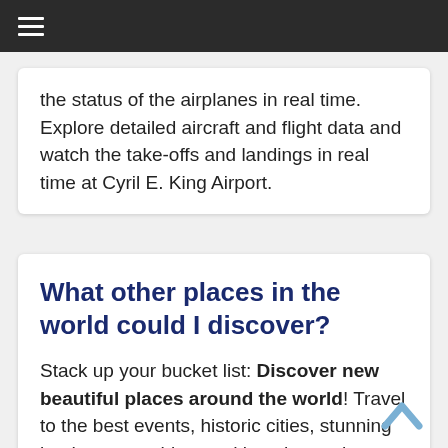≡ (hamburger menu)
the status of the airplanes in real time. Explore detailed aircraft and flight data and watch the take-offs and landings in real time at Cyril E. King Airport.
What other places in the world could I discover?
Stack up your bucket list: Discover new beautiful places around the world! Travel to the best events, historic cities, stunning landscapes, white sand beaches or have fun